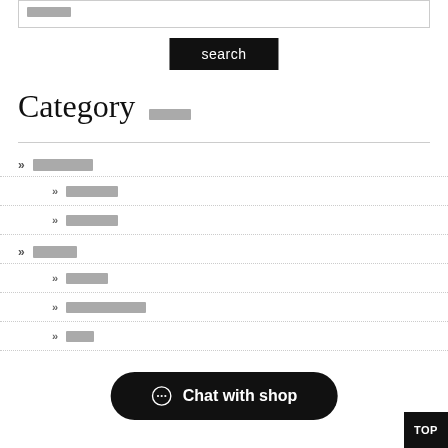[search input field]
search
Category
» [redacted]
» [redacted]
» [redacted]
» [redacted]
» [redacted]
» [redacted]
» [redacted]
» [redacted]
Chat with shop
TOP